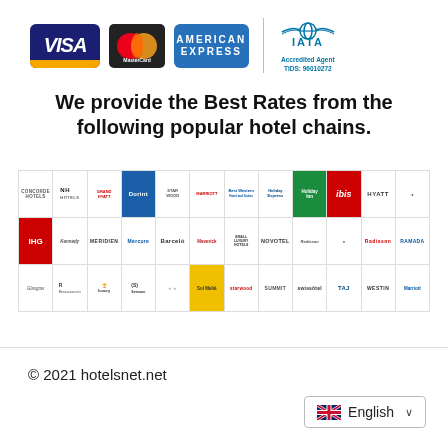[Figure (logo): Payment logos: Visa, MasterCard, American Express, plus IATA Accredited Agent logo (TIDS: 96010272)]
We provide the Best Rates from the following popular hotel chains.
[Figure (logo): Grid of hotel chain logos including Concorde, NH Hotels, Grand Hyatt, Dorint, Starwood, Marriott, Best Western, Holiday Express, Holiday Inn, ibis, Hyatt, IHG, Kennedy, Meridien, Mercure, Barcelo, Maverick, Small Luxury Hotels, Novotel, Radisson, Ramada, Glasgow, Kempinski, Westin, Starwood, Summit, Swissotel, TAJ, Westin, and others]
© 2021 hotelsnet.net
[Figure (other): English language selector button with UK flag icon]